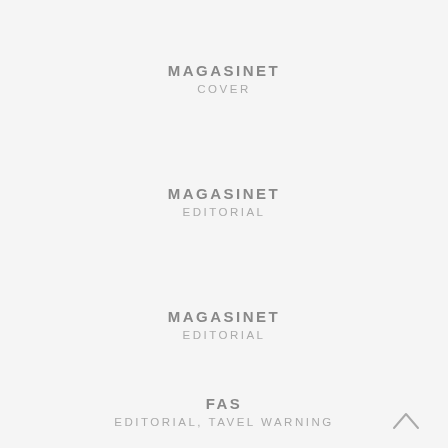MAGASINET
COVER
MAGASINET
EDITORIAL
MAGASINET
EDITORIAL
FAS
EDITORIAL, TAVEL WARNING